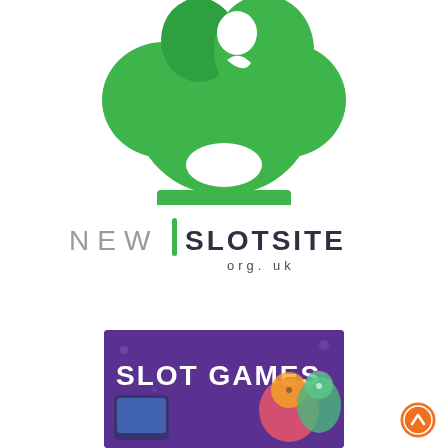[Figure (logo): Green spade/parrot logo icon — a stylized green spade card suit shape with a parrot-like bird silhouette integrated at the top]
[Figure (logo): NewSlotSite.org.uk text logo — 'NEW' in light grey spaced letters, a green vertical bar separator, 'SLOTSITE' in dark grey, and '.org. uk' below in spaced letters]
[Figure (screenshot): Purple banner image showing 'SLOT GAMES' text in white bold letters with slot game character illustrations and a mobile device]
[Figure (other): Orange circular scroll-up arrow button in the bottom right corner]